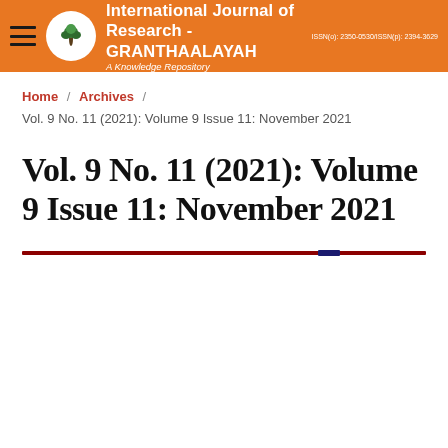International Journal of Research -GRANTHAALAYAH | A Knowledge Repository | ISSN(o): 2350-0530/ISSN(p): 2394-3629
Home / Archives / Vol. 9 No. 11 (2021): Volume 9 Issue 11: November 2021
Vol. 9 No. 11 (2021): Volume 9 Issue 11: November 2021